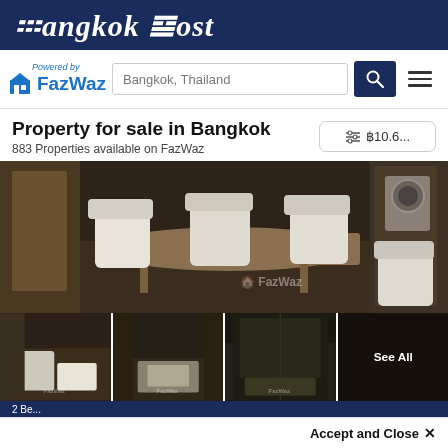Bangkok Post
[Figure (logo): FazWaz logo with house icon and 'Powered by FazWaz' text, search box showing 'Bangkok, Thailand', search button, and menu icon]
Property for sale in Bangkok
883 Properties available on FazWaz
[Figure (photo): Main large photo of furnished apartment interior with dining table, white chairs, and dark wood floors. Three thumbnail photos below showing living room, dining area, and corridor. Last thumbnail shows 'See All' overlay.]
Accept and Close ✕
Your browser settings do not allow cross-site tracking for advertising. Click on this page to allow AdRoll to use cross-site tracking to tailor ads to you. Learn more or opt out of this AdRoll tracking by clicking here. This message only appears once.